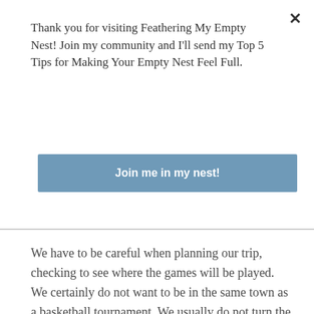Thank you for visiting Feathering My Empty Nest! Join my community and I'll send my Top 5 Tips for Making Your Empty Nest Feel Full.
Join me in my nest!
We have to be careful when planning our trip, checking to see where the games will be played.  We certainly do not want to be in the same town as a basketball tournament. We usually do not turn the television on the entire weekend and have been known to request different seating if a television showing the tournament is in our line of vision.  (Did I mention, we loathe basketball?)
Before this year, we made six trips; Macon, Georgia for the Cherry Blossom Festival, Charleston, South Carolina,